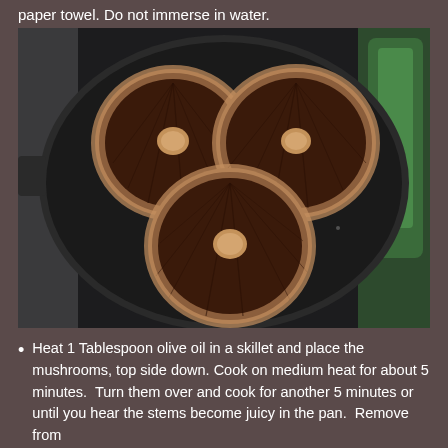paper towel. Do not immerse in water.
[Figure (photo): Three portobello mushrooms placed gill-side up in a cast iron skillet, viewed from above on a kitchen stovetop.]
Heat 1 Tablespoon olive oil in a skillet and place the mushrooms, top side down. Cook on medium heat for about 5 minutes.  Turn them over and cook for another 5 minutes or until you hear the stems become juicy in the pan.  Remove from